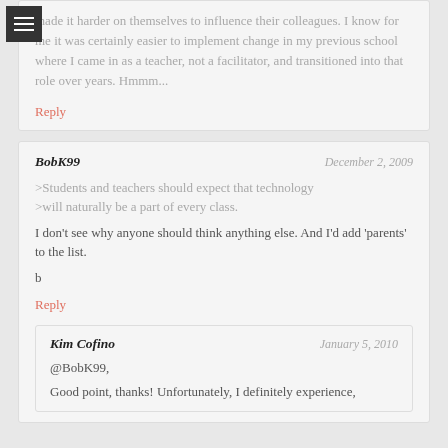made it harder on themselves to influence their colleagues. I know for me it was certainly easier to implement change in my previous school where I came in as a teacher, not a facilitator, and transitioned into that role over years. Hmmm...
Reply
BobK99
December 2, 2009
>Students and teachers should expect that technology
>will naturally be a part of every class.
I don't see why anyone should think anything else. And I'd add 'parents' to the list.

b
Reply
Kim Cofino
January 5, 2010
@BobK99,
Good point, thanks! Unfortunately, I definitely experience,